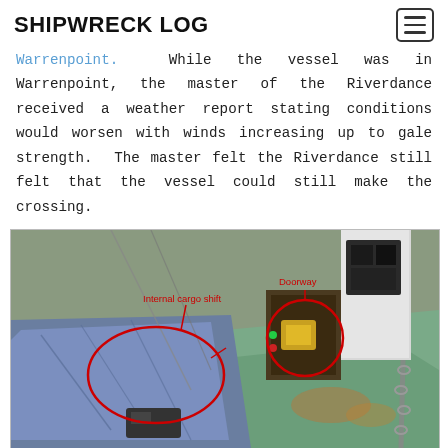SHIPWRECK LOG
Warrenpoint. While the vessel was in Warrenpoint, the master of the Riverdance received a weather report stating conditions would worsen with winds increasing up to gale strength. The master felt the Riverdance still felt that the vessel could still make the crossing.
[Figure (photo): Photo of ship cargo deck showing tilted cargo with two red circles annotating 'Internal cargo shift' and 'Doorway'. The deck is tilted, showing chains, blue tarpaulin-covered cargo shifted to one side, and a doorway with yellow equipment visible.]